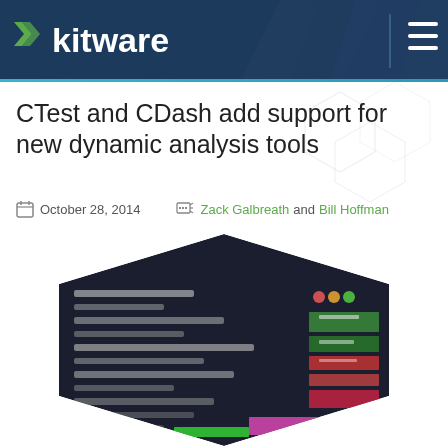Kitware
CTest and CDash add support for new dynamic analysis tools
October 28, 2014   Zack Galbreath and Bill Hoffman
[Figure (photo): Hexagon-shaped screenshot of terminal/code editor showing colored text output, likely representing dynamic analysis tool output with green, red, and pink highlighted results]